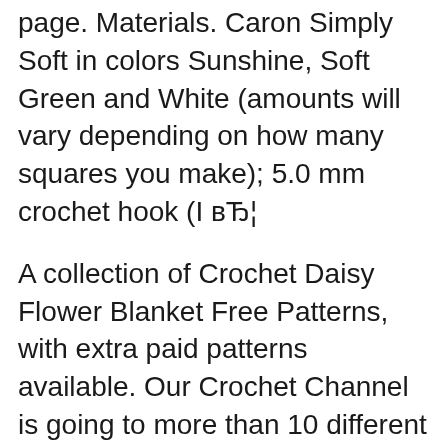page. Materials. Caron Simply Soft in colors Sunshine, Soft Green and White (amounts will vary depending on how many squares you make); 5.0 mm crochet hook (I вЂ¦
A collection of Crochet Daisy Flower Blanket Free Patterns, with extra paid patterns available. Our Crochet Channel is going to more than 10 different ways to crochet daisy blankets for babies and home decoration. Crochet Bobble stitch, cluster stitch,puff stitch daisy petals, or pop your daisy flower out, crochet around the petals or miter from the corner, there are different designs that you I was wondering if anyone has seen a crochet afghan pattern that is a